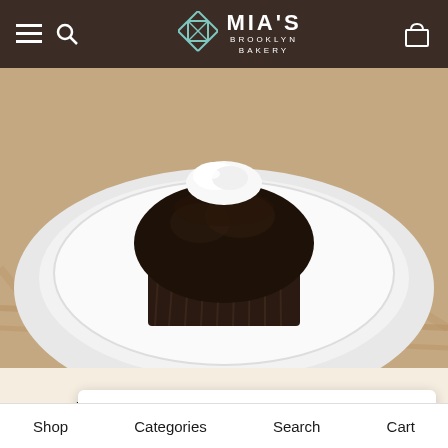MIA'S BROOKLYN BAKERY
[Figure (photo): Close-up photo of a chocolate cupcake with white cream/frosting on top, sitting on a white plate on a wooden surface. The cupcake appears dark chocolate with ridged paper wrapper.]
Vanilla Chocolate C…
"Red Velvet Cupcake" has been added to your cart.
Shop   Categories   Search   Cart